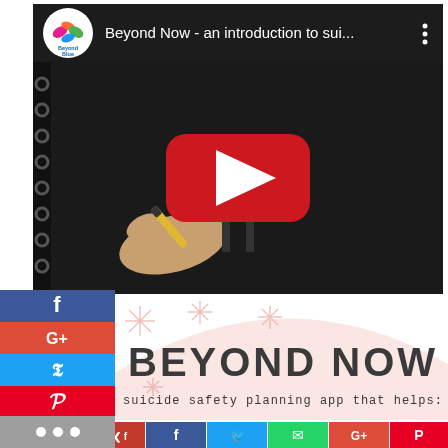[Figure (screenshot): YouTube video thumbnail showing 'Beyond Now - an introduction to sui...' with Beyond Blue logo, dark background with a hand holding a marker and a YouTube play button overlay]
[Figure (infographic): Bottom infographic with decorative snowflake/star patterns on light pink/peach arc background, showing 'BEYOND NOW' in large bold text and subtitle 'suicide safety planning app that helps:']
[Figure (infographic): Social media sharing sidebar on the left with Facebook, Google+, Twitter, Pinterest, Blogger, and more buttons]
[Figure (infographic): Bottom social sharing row with small icons for various social networks]
BEYOND NOW
suicide safety planning app that helps: